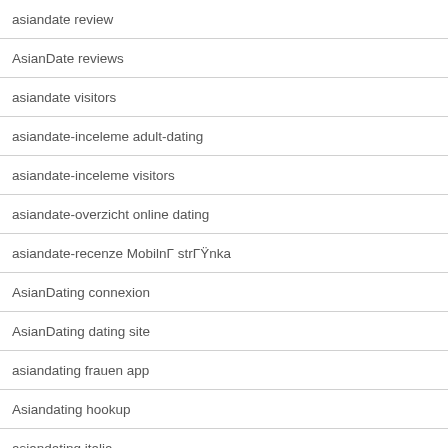asiandate review
AsianDate reviews
asiandate visitors
asiandate-inceleme adult-dating
asiandate-inceleme visitors
asiandate-overzicht online dating
asiandate-recenze MobilnÍ strÍŸnka
AsianDating connexion
AsianDating dating site
asiandating frauen app
Asiandating hookup
asiandating italia